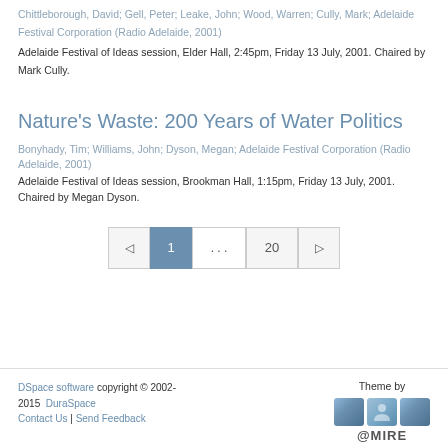Chittleborough, David; Gell, Peter; Leake, John; Wood, Warren; Cully, Mark; Adelaide Festival Corporation (Radio Adelaide, 2001)
Adelaide Festival of Ideas session, Elder Hall, 2:45pm, Friday 13 July, 2001. Chaired by Mark Cully.
Nature's Waste: 200 Years of Water Politics
Bonyhady, Tim; Williams, John; Dyson, Megan; Adelaide Festival Corporation (Radio Adelaide, 2001)
Adelaide Festival of Ideas session, Brookman Hall, 1:15pm, Friday 13 July, 2001. Chaired by Megan Dyson.
DSpace software copyright © 2002-2015  DuraSpace  Contact Us | Send Feedback  Theme by @MIRE